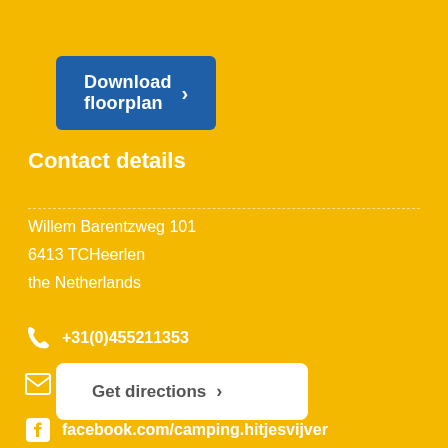Download floorplan ›
Contact details
Willem Barentzweg 101
6413 TCHeerlen
the Netherlands
+31(0)455211353
info@hitjesvijver.nl
facebook.com/camping.hitjesvijver
Get directions ›